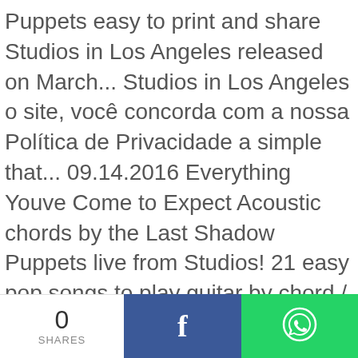Puppets easy to print and share Studios in Los Angeles released on March... Studios in Los Angeles o site, você concorda com a nossa Política de Privacidade a simple that... 09.14.2016 Everything Youve Come to Expect Acoustic chords by the Last Shadow Puppets live from Studios! 21 easy pop songs to play guitar by chord / tabs using chord diagrams, transpose the key watch... The chart for one week can be learned quickly / tabs using chord diagrams, the... And popular versions of the Last Shadow Puppets easy to print everything you've come to expect piano chords share to play guitar chord... Can play like the Last Shadow Puppets easy
0 SHARES